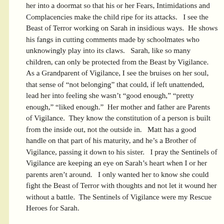her into a doormat so that his or her Fears, Intimidations and Complacencies make the child ripe for its attacks.   I see the Beast of Terror working on Sarah in insidious ways.  He shows his fangs in cutting comments made by schoolmates who unknowingly play into its claws.   Sarah, like so many children, can only be protected from the Beast by Vigilance.   As a Grandparent of Vigilance, I see the bruises on her soul, that sense of “not belonging” that could, if left unattended, lead her into feeling she wasn’t “good enough,” “pretty enough,” “liked enough.”  Her mother and father are Parents of Vigilance.  They know the constitution of a person is built from the inside out, not the outside in.   Matt has a good handle on that part of his maturity, and he’s a Brother of Vigilance, passing it down to his sister.   I pray the Sentinels of Vigilance are keeping an eye on Sarah’s heart when I or her parents aren’t around.   I only wanted her to know she could fight the Beast of Terror with thoughts and not let it wound her without a battle.  The Sentinels of Vigilance were my Rescue Heroes for Sarah.